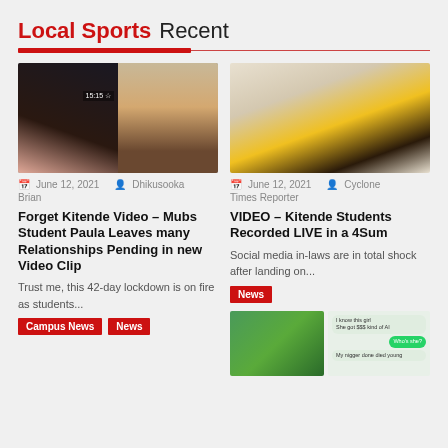Local Sports Recent
[Figure (photo): Two-panel collage of video screenshots — left: person on phone at night, right: person in pink top and jeans]
June 12, 2021  Dhikusooka Brian
Forget Kitende Video – Mubs Student Paula Leaves many Relationships Pending in new Video Clip
Trust me, this 42-day lockdown is on fire as students...
Campus News  News
[Figure (photo): Woman in yellow pleated skirt standing by a window with sheer curtains]
June 12, 2021  Cyclone Times Reporter
VIDEO – Kitende Students Recorded LIVE in a 4Sum
Social media in-laws are in total shock after landing on...
News
[Figure (screenshot): Two images side by side: green abstract image on left, chat/WhatsApp screenshot on right with text messages]